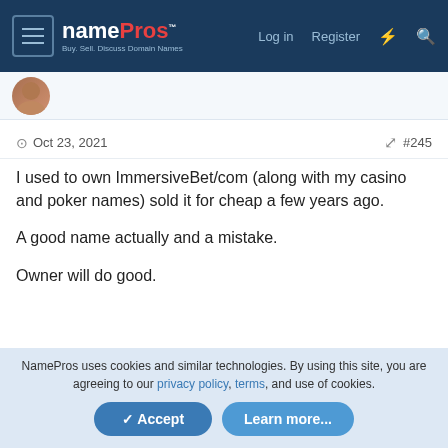namePros — Log in   Register
Oct 23, 2021   #245
I used to own ImmersiveBet/com (along with my casino and poker names) sold it for cheap a few years ago.

A good name actually and a mistake.

Owner will do good.
1 Like   1 Agree   Thanks
NamePros uses cookies and similar technologies. By using this site, you are agreeing to our privacy policy, terms, and use of cookies.